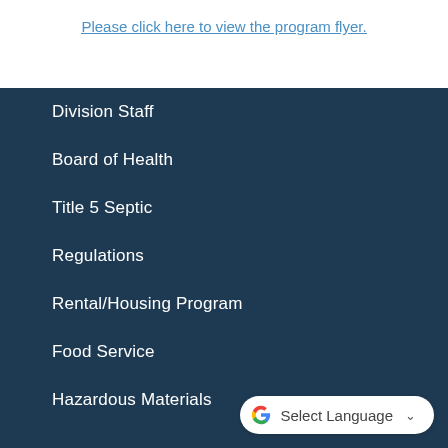Please click here to view the program flyer.
Division Staff
Board of Health
Title 5 Septic
Regulations
Rental/Housing Program
Food Service
Hazardous Materials
G Select Language